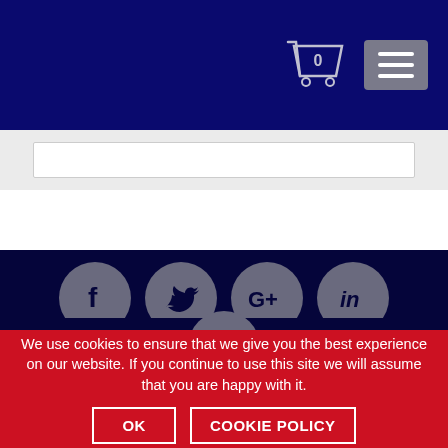Navigation header with shopping cart (0 items) and hamburger menu
[Figure (screenshot): Website header with dark navy background, shopping cart icon with 0 badge, and hamburger menu button]
[Figure (infographic): Social media icons row: Facebook, Twitter, Google+, LinkedIn, and RSS feed icon on dark navy footer background]
We use cookies to ensure that we give you the best experience on our website. If you continue to use this site we will assume that you are happy with it.
OK
COOKIE POLICY